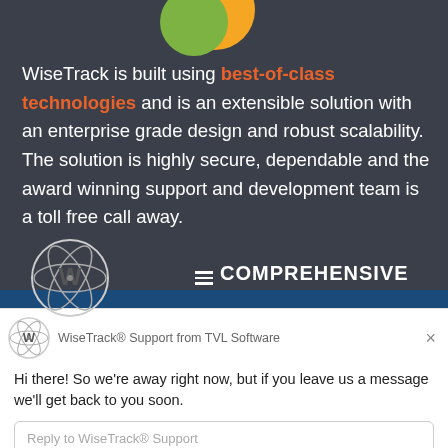WiseTrack is built using best-of-class technologies and is an extensible solution with an enterprise grade design and robust scalability.  The solution is highly secure, dependable and the award winning support and development team is a toll free call away.
[Figure (logo): WiseTrack logo - atomic/molecular style W symbol in grey/silver, circular shape]
COMPREHENSIVE
[Figure (screenshot): Chat popup widget: WiseTrack Support from TVL Software chat window with message 'Hi there! So we're away right now, but if you leave us a message we'll get back to you soon.' and a reply input field. Footer shows 'Chat by Drift'.]